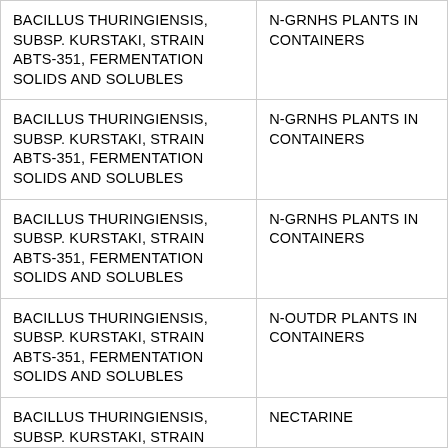| BACILLUS THURINGIENSIS, SUBSP. KURSTAKI, STRAIN ABTS-351, FERMENTATION SOLIDS AND SOLUBLES | N-GRNHS PLANTS IN CONTAINERS |
| BACILLUS THURINGIENSIS, SUBSP. KURSTAKI, STRAIN ABTS-351, FERMENTATION SOLIDS AND SOLUBLES | N-GRNHS PLANTS IN CONTAINERS |
| BACILLUS THURINGIENSIS, SUBSP. KURSTAKI, STRAIN ABTS-351, FERMENTATION SOLIDS AND SOLUBLES | N-GRNHS PLANTS IN CONTAINERS |
| BACILLUS THURINGIENSIS, SUBSP. KURSTAKI, STRAIN ABTS-351, FERMENTATION SOLIDS AND SOLUBLES | N-OUTDR PLANTS IN CONTAINERS |
| BACILLUS THURINGIENSIS, SUBSP. KURSTAKI, STRAIN ABTS-351, FERMENTATION SOLIDS AND | NECTARINE |